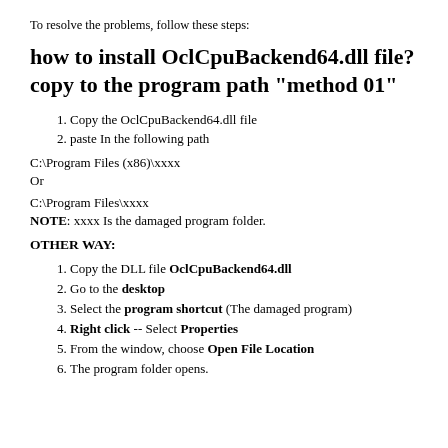To resolve the problems, follow these steps:
how to install OclCpuBackend64.dll file? copy to the program path "method 01"
1. Copy the OclCpuBackend64.dll file
2. paste In the following path
C:\Program Files (x86)\xxxx
Or
C:\Program Files\xxxx
NOTE: xxxx Is the damaged program folder.
OTHER WAY:
1. Copy the DLL file OclCpuBackend64.dll
2. Go to the desktop
3. Select the program shortcut (The damaged program)
4. Right click -- Select Properties
5. From the window, choose Open File Location
6. The program folder opens.